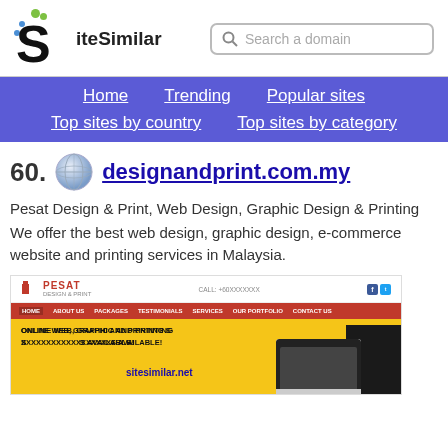[Figure (logo): SiteSimilar logo with S and green/blue dots, search bar]
Home  Trending  Popular sites  Top sites by country  Top sites by category
60. designandprint.com.my
Pesat Design & Print, Web Design, Graphic Design & Printing
We offer the best web design, graphic design, e-commerce website and printing services in Malaysia.
[Figure (screenshot): Screenshot of designandprint.com.my (Pesat Design & Print) website showing red navigation bar and yellow hero section with text ONLINE WEB, GRAPHIC AND PRINTING SERVICES AVAILABLE! and sitesimilar.net watermark]